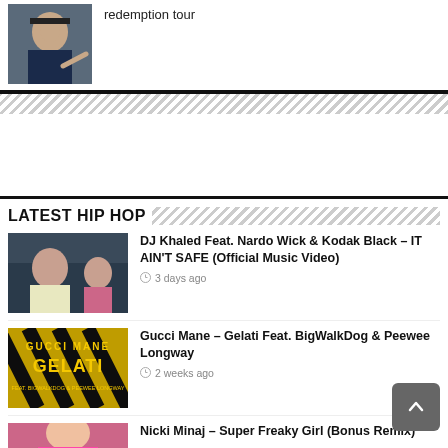redemption tour
[Figure (photo): Man in dark suit pointing at camera]
LATEST HIP HOP
[Figure (photo): DJ Khaled music video thumbnail]
DJ Khaled Feat. Nardo Wick & Kodak Black – IT AIN'T SAFE (Official Music Video)
3 days ago
[Figure (photo): Gucci Mane Gelati album art with yellow and black caution tape design]
Gucci Mane – Gelati Feat. BigWalkDog & Peewee Longway
2 weeks ago
[Figure (photo): Nicki Minaj thumbnail (partially visible)]
Nicki Minaj – Super Freaky Girl (Bonus Remix)